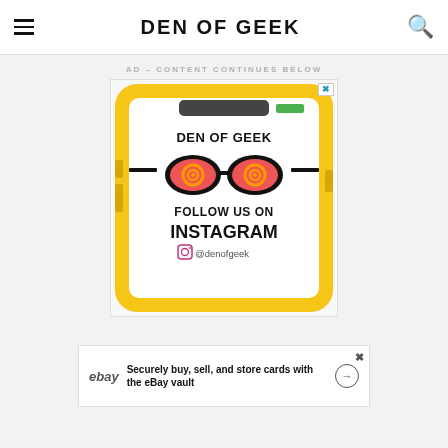DEN OF GEEK
AD – CONTENT CONTINUES BELOW
[Figure (illustration): Den of Geek Instagram follow ad showing a stylized phone with psychedelic glasses logo, text 'FOLLOW US ON INSTAGRAM @denofgeek']
[Figure (infographic): eBay advertisement: 'Securely buy, sell, and store cards with the eBay vault']